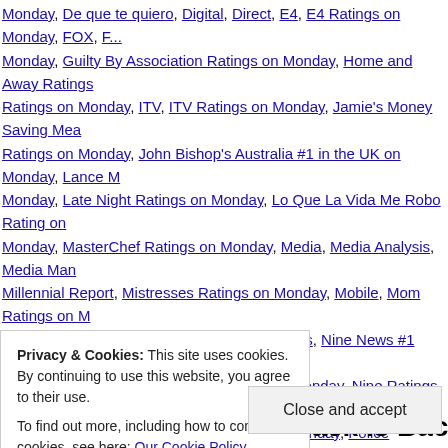Monday, De que te quiero, Digital, Direct, E4, E4 Ratings on Monday, FOX, Monday, Guilty By Association Ratings on Monday, Home and Away Ratings, Ratings on Monday, ITV, ITV Ratings on Monday, Jamie's Money Saving Mea... Ratings on Monday, John Bishop's Australia #1 in the UK on Monday, Lance... Monday, Late Night Ratings on Monday, Lo Que La Vida Me Robo Rating on Monday, MasterChef Ratings on Monday, Media, Media Analysis, Media Ma... Millennial Report, Mistresses Ratings on Monday, Mobile, Mom Ratings on M... Nightline Ratings on Monday, Nine, Nine News, Nine News #1 newscast in A... Ratings on Monday, Nine News Ratings on Monday, Nine Ratings on Monday Ratings on Monday, Panorama Ratings on Monday, Police Interceptors Ratin... Ratings in the UK on Monday, QI Ratings on Monday, Que Pobres Tan Ricos Monday, Scotland: For Richer or Poorer Ratings on Monday, Seth Meyers Ra... Seven News Ratings on Monday, Seven News/Today Tonight Ratings on Mo... the Royal Wardrobe Ratings on Monday, Te Quiero Rating on Monday, Telem... Television, Television Ratings on Monday, Ten, Ten Ratings on Monday, The... Armstrong Lie Ratings on Monday, The Bachelorette Ratings on Monday, The CW Ratings on Monday, The RHS Hampton Court Palace Flower Show Ratin... on Monday, The Voice Australia #1 on Monday, The Voice Australia Ratings o...
Privacy & Cookies: This site uses cookies. By continuing to use this website, you agree to their use. To find out more, including how to control cookies, see here: Our Cookie Policy
Close and accept
FOX Wins Monday As Jack Is Back In The...